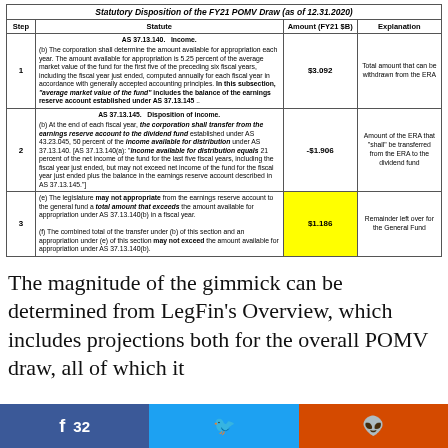| Step | Statute | Amount (FY21 $B) | Explanation |
| --- | --- | --- | --- |
| 1 | AS 37.13.140. Income.
(b) The corporation shall determine the amount available for appropriation each year. The amount available for appropriation is 5.25 percent of the average market value of the fund for the first five of the preceding six fiscal years, including the fiscal year just ended, computed annually for each fiscal year in accordance with generally accepted accounting principles. In this subsection, "average market value of the fund" includes the balance of the earnings reserve account established under AS 37.13.145 .. | $3.092 | Total amount that can be withdrawn from the ERA |
| 2 | AS 37.13.145. Disposition of income.
(b) At the end of each fiscal year, the corporation shall transfer from the earnings reserve account to the dividend fund established under AS 43.23.045, 50 percent of the income available for distribution under AS 37.13.140. [AS 37.13.140(a): "Income available for distribution equals 21 percent of the net income of the fund for the last five fiscal years, including the fiscal year just ended, but may not exceed net income of the fund for the fiscal year just ended plus the balance in the earnings reserve account described in AS 37.13.145."] | -$1.906 | Amount of the ERA that "shall" be transferred from the ERA to the dividend fund |
| 3 | (e) The legislature may not appropriate from the earnings reserve account to the general fund a total amount that exceeds the amount available for appropriation under AS 37.13.140(b) in a fiscal year.
(f) The combined total of the transfer under (b) of this section and an appropriation under (e) of this section may not exceed the amount available for appropriation under AS 37.13.140(b). | $1.186 | Remainder left over for the General Fund |
The magnitude of the gimmick can be determined from LegFin's Overview, which includes projections both for the overall POMV draw, all of which it